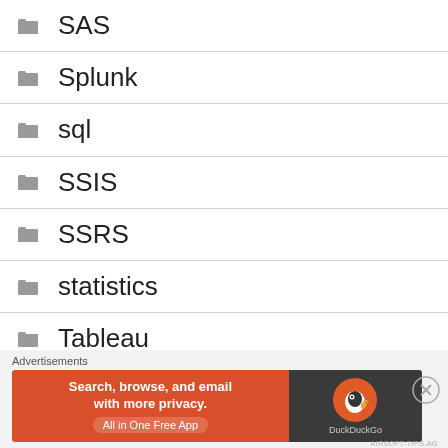SAS
Splunk
sql
SSIS
SSRS
statistics
Tableau
Uncategorized
Advertisements
[Figure (other): DuckDuckGo advertisement banner: Search, browse, and email with more privacy. All in One Free App]